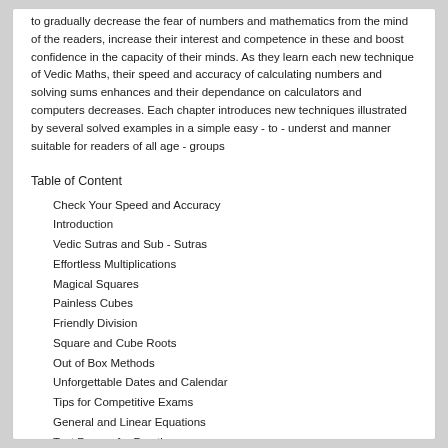to gradually decrease the fear of numbers and mathematics from the mind of the readers, increase their interest and competence in these and boost confidence in the capacity of their minds. As they learn each new technique of Vedic Maths, their speed and accuracy of calculating numbers and solving sums enhances and their dependance on calculators and computers decreases. Each chapter introduces new techniques illustrated by several solved examples in a simple easy - to - underst and manner suitable for readers of all age - groups
Table of Content
Check Your Speed and Accuracy
Introduction
Vedic Sutras and Sub - Sutras
Effortless Multiplications
Magical Squares
Painless Cubes
Friendly Division
Square and Cube Roots
Out of Box Methods
Unforgettable Dates and Calendar
Tips for Competitive Exams
General and Linear Equations
Test Papers for Practice
Solutions